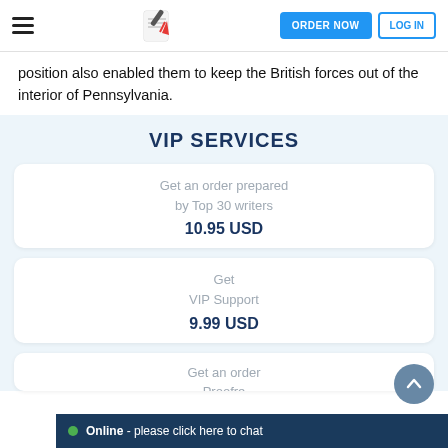ORDER NOW  LOG IN
position also enabled them to keep the British forces out of the interior of Pennsylvania.
VIP SERVICES
Get an order prepared by Top 30 writers
10.95 USD
Get
VIP Support
9.99 USD
Get an order
Proofre
Online - please click here to chat